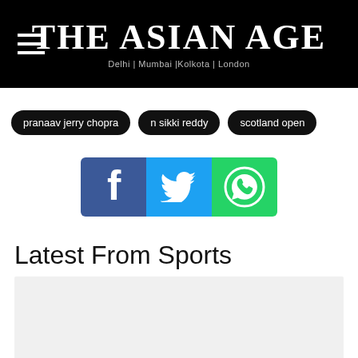The Asian Age — Delhi | Mumbai |Kolkota | London
pranaav jerry chopra
n sikki reddy
scotland open
[Figure (infographic): Social media share icons: Facebook (blue), Twitter (light blue), WhatsApp (green)]
Latest From Sports
[Figure (photo): Gray placeholder image area for a sports article]